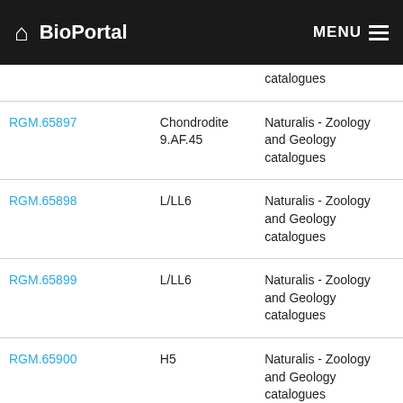BioPortal  MENU
|  |  | catalogues |
| RGM.65897 | Chondrodite 9.AF.45 | Naturalis - Zoology and Geology catalogues |
| RGM.65898 | L/LL6 | Naturalis - Zoology and Geology catalogues |
| RGM.65899 | L/LL6 | Naturalis - Zoology and Geology catalogues |
| RGM.65900 | H5 | Naturalis - Zoology and Geology catalogues |
| RGM.65901 | L/LL5 | Naturalis - Zoology and Geology catalogues |